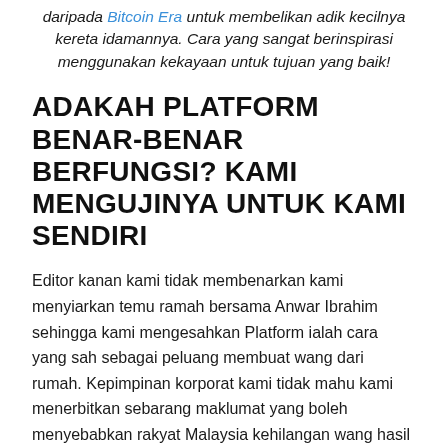daripada Bitcoin Era untuk membelikan adik kecilnya kereta idamannya. Cara yang sangat berinspirasi menggunakan kekayaan untuk tujuan yang baik!
ADAKAH PLATFORM BENAR-BENAR BERFUNGSI? KAMI MENGUJINYA UNTUK KAMI SENDIRI
Editor kanan kami tidak membenarkan kami menyiarkan temu ramah bersama Anwar Ibrahim sehingga kami mengesahkan Platform ialah cara yang sah sebagai peluang membuat wang dari rumah. Kepimpinan korporat kami tidak mahu kami menerbitkan sebarang maklumat yang boleh menyebabkan rakyat Malaysia kehilangan wang hasil titik peluh mereka.